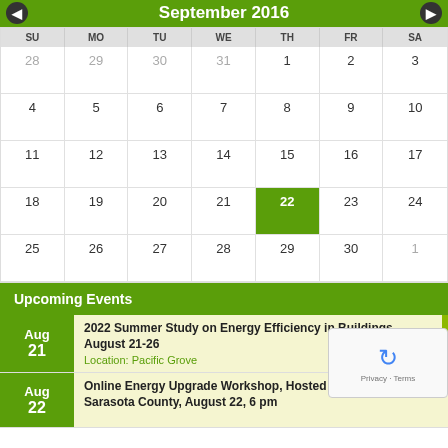September 2016
| SU | MO | TU | WE | TH | FR | SA |
| --- | --- | --- | --- | --- | --- | --- |
| 28 | 29 | 30 | 31 | 1 | 2 | 3 |
| 4 | 5 | 6 | 7 | 8 | 9 | 10 |
| 11 | 12 | 13 | 14 | 15 | 16 | 17 |
| 18 | 19 | 20 | 21 | 22 | 23 | 24 |
| 25 | 26 | 27 | 28 | 29 | 30 | 1 |
Upcoming Events
2022 Summer Study on Energy Efficiency in Buildings, August 21-26
Location: Pacific Grove
Online Energy Upgrade Workshop, Hosted by UF/IFAS Ext Sarasota County, August 22, 6 pm